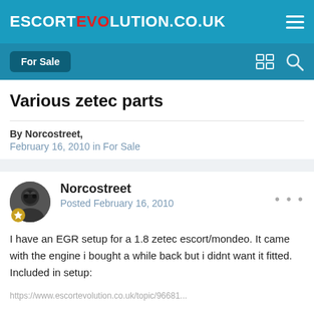ESCORTEVOLUTION.CO.UK
Various zetec parts
By Norcostreet,
February 16, 2010 in For Sale
Norcostreet
Posted February 16, 2010
I have an EGR setup for a 1.8 zetec escort/mondeo. It came with the engine i bought a while back but i didnt want it fitted. Included in setup: